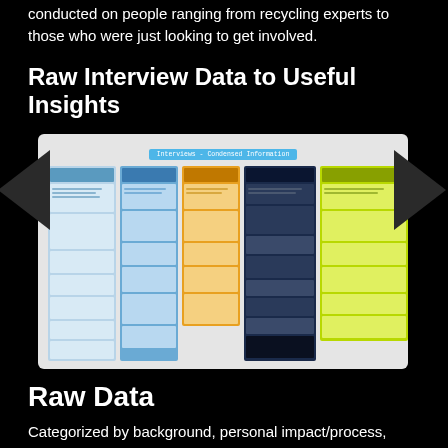conducted on people ranging from recycling experts to those who were just looking to get involved.
Raw Interview Data to Useful Insights
[Figure (screenshot): Screenshot of a spreadsheet/table titled 'Interviews - Condensed Information' with multiple columns color-coded in blue, orange, dark navy, and lime green, containing interview data organized in rows.]
Raw Data
Categorized by background, personal impact/process, painpoints and collaborations and desired habits